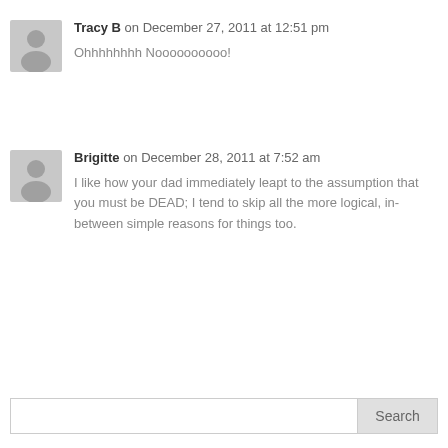Tracy B on December 27, 2011 at 12:51 pm
Ohhhhhhhh Noooooooooo!
Brigitte on December 28, 2011 at 7:52 am
I like how your dad immediately leapt to the assumption that you must be DEAD; I tend to skip all the more logical, in-between simple reasons for things too.